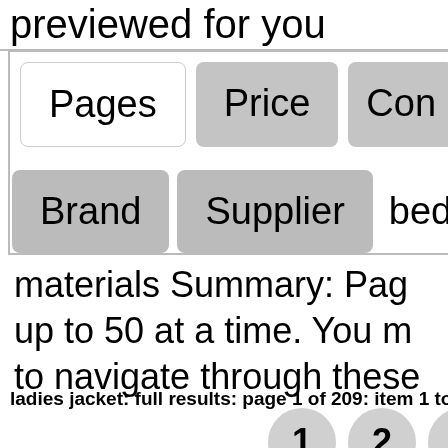previewed for you
[Figure (screenshot): UI filter buttons showing Pages (white/selected), Price (gray), Con... (gray) in row 1, and Brand (gray), Supplier (gray), ...ped (partial) in row 2]
materials Summary: Pag... up to 50 at a time. You m... to navigate through these...
ladies jacket: full results: page 1 of 209: item 1 to 2...
[Figure (screenshot): Pagination buttons showing 1, 2, 3 as circular gray buttons]